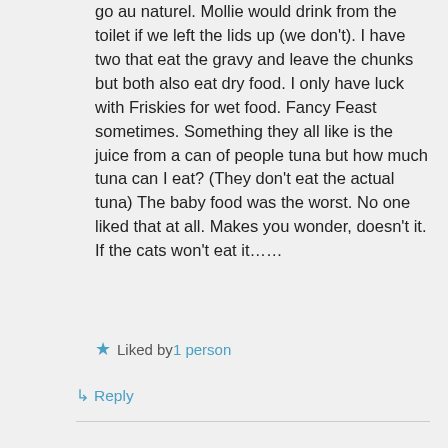go au naturel. Mollie would drink from the toilet if we left the lids up (we don't). I have two that eat the gravy and leave the chunks but both also eat dry food. I only have luck with Friskies for wet food. Fancy Feast sometimes. Something they all like is the juice from a can of people tuna but how much tuna can I eat? (They don't eat the actual tuna) The baby food was the worst. No one liked that at all. Makes you wonder, doesn't it. If the cats won't eat it……
Liked by 1 person
Reply